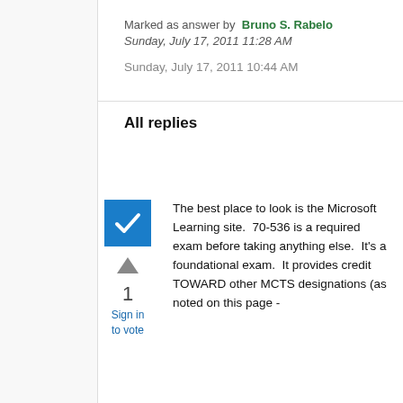Marked as answer by  Bruno S. Rabelo
Sunday, July 17, 2011 11:28 AM
Sunday, July 17, 2011 10:44 AM
All replies
[Figure (other): Blue checkbox with white checkmark indicating accepted answer, with upvote arrow, vote count 1, and Sign in to vote link below]
The best place to look is the Microsoft Learning site.  70-536 is a required exam before taking anything else.  It's a foundational exam.  It provides credit TOWARD other MCTS designations (as noted on this page -